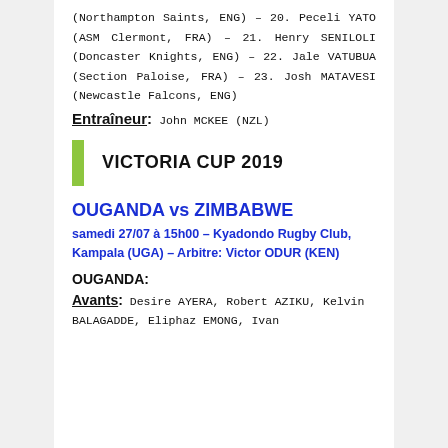(Northampton Saints, ENG) – 20. Peceli YATO (ASM Clermont, FRA) – 21. Henry SENILOLI (Doncaster Knights, ENG) – 22. Jale VATUBUA (Section Paloise, FRA) – 23. Josh MATAVESI (Newcastle Falcons, ENG)
Entraîneur: John MCKEE (NZL)
VICTORIA CUP 2019
OUGANDA vs ZIMBABWE
samedi 27/07 à 15h00 – Kyadondo Rugby Club, Kampala (UGA) – Arbitre: Victor ODUR (KEN)
OUGANDA:
Avants: Desire AYERA, Robert AZIKU, Kelvin BALAGADDE, Eliphaz EMONG, Ivan